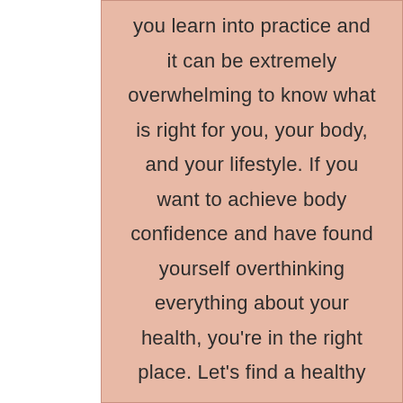you learn into practice and it can be extremely overwhelming to know what is right for you, your body, and your lifestyle. If you want to achieve body confidence and have found yourself overthinking everything about your health, you're in the right place. Let's find a healthy